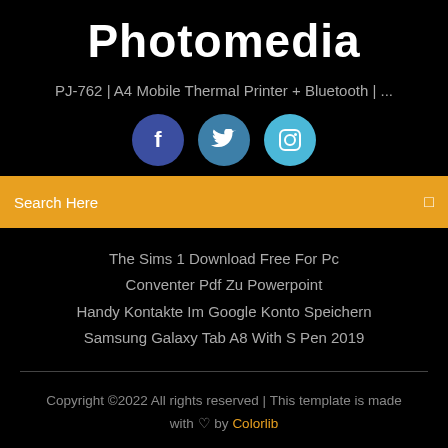Photomedia
PJ-762 | A4 Mobile Thermal Printer + Bluetooth | ...
[Figure (other): Social media buttons: Facebook, Twitter, Instagram]
Search Here
The Sims 1 Download Free For Pc
Conventer Pdf Zu Powerpoint
Handy Kontakte Im Google Konto Speichern
Samsung Galaxy Tab A8 With S Pen 2019
Copyright ©2022 All rights reserved | This template is made with ♡ by Colorlib